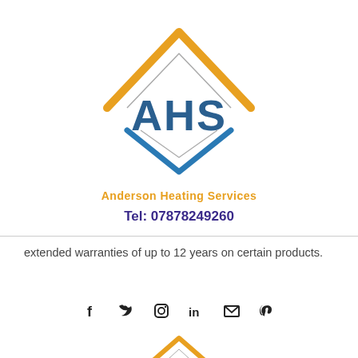[Figure (logo): Anderson Heating Services (AHS) logo with orange upward chevron/roof shape, teal downward chevron, dark blue AHS letters, orange 'Anderson Heating Services' text, and purple 'Tel: 07878249260']
extended warranties of up to 12 years on certain products.
[Figure (other): Social media icons row: Facebook, Twitter, Instagram, LinkedIn, Email, Pinterest]
[Figure (logo): Anderson Heating Services (AHS) smaller footer logo]